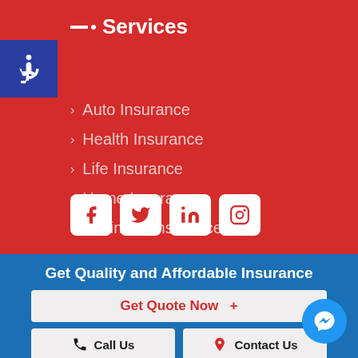Services
Auto Insurance
Health Insurance
Life Insurance
Home Insurance
Business Insurance
[Figure (infographic): Social media icon buttons: Facebook, Twitter, LinkedIn, Instagram]
Get Quality and Affordable Insurance
Get Quote Now  +
Call Us
Contact Us